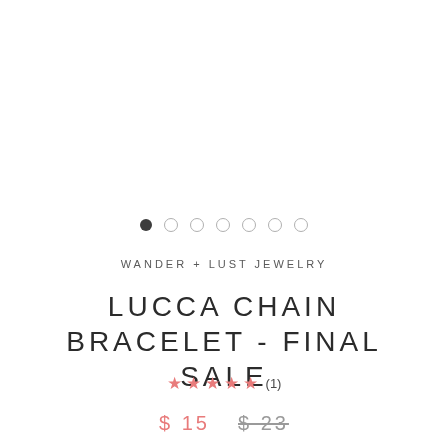[Figure (other): Image carousel dot indicators: one filled dark dot followed by six empty circle dots]
WANDER + LUST JEWELRY
LUCCA CHAIN BRACELET - FINAL SALE
★★★★★ (1)
$ 15   $ 23